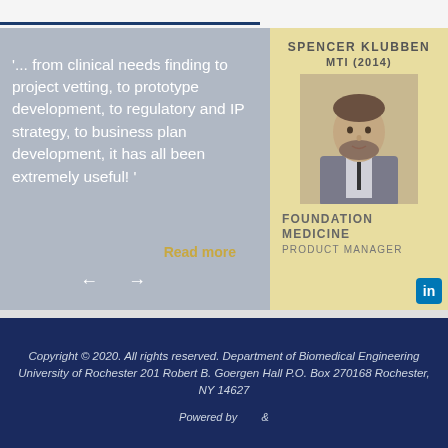'... from clinical needs finding to project vetting, to prototype development, to regulatory and IP strategy, to business plan development, it has all been extremely useful! '
Read more
SPENCER KLUBBEN MTI (2014)
[Figure (photo): Professional headshot of Spencer Klubben, man with beard in suit]
FOUNDATION MEDICINE PRODUCT MANAGER
Copyright © 2020. All rights reserved. Department of Biomedical Engineering University of Rochester 201 Robert B. Goergen Hall P.O. Box 270168 Rochester, NY 14627
Powered by &